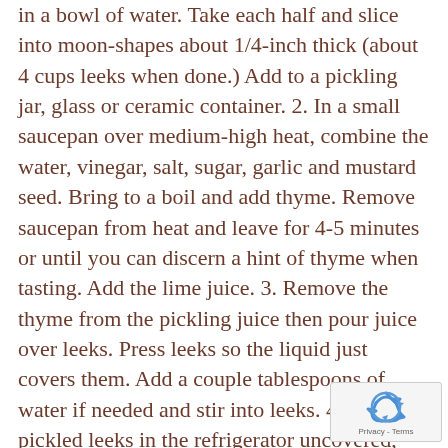in a bowl of water. Take each half and slice into moon-shapes about 1/4-inch thick (about 4 cups leeks when done.) Add to a pickling jar, glass or ceramic container. 2. In a small saucepan over medium-high heat, combine the water, vinegar, salt, sugar, garlic and mustard seed. Bring to a boil and add thyme. Remove saucepan from heat and leave for 4-5 minutes or until you can discern a hint of thyme when tasting. Add the lime juice. 3. Remove the thyme from the pickling juice then pour juice over leeks. Press leeks so the liquid just covers them. Add a couple tablespoons of water if needed and stir into leeks. 4. Cool pickled leeks in the refrigerator uncovered, but cover when cooled to
[Figure (other): reCAPTCHA widget with recycling arrows icon and 'Privacy - Terms' text]